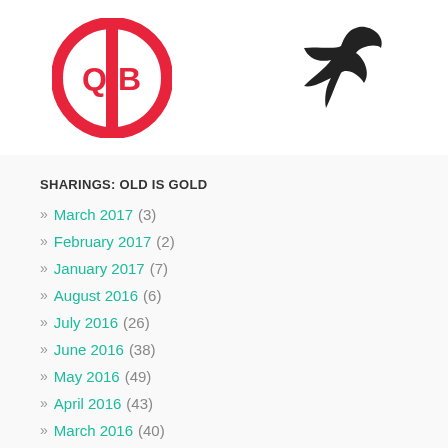[Figure (logo): Red circular logo with QB or similar initials, partially visible at top]
[Figure (logo): Black bird/leaf silhouette logo, partially visible at top right]
SHARINGS: OLD IS GOLD
» March 2017 (3)
» February 2017 (2)
» January 2017 (7)
» August 2016 (6)
» July 2016 (26)
» June 2016 (38)
» May 2016 (49)
» April 2016 (43)
» March 2016 (40)
» February 2016 (33)
» January 2016 (39)